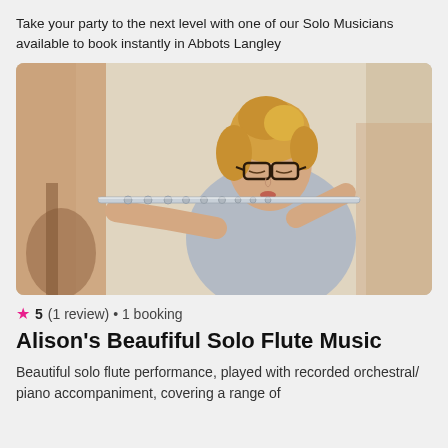Take your party to the next level with one of our Solo Musicians available to book instantly in Abbots Langley
[Figure (photo): A middle-aged woman with blonde hair and glasses playing a silver flute, wearing a grey mesh top, captured in a candid performance pose.]
5 (1 review) • 1 booking
Alison's Beaufiful Solo Flute Music
Beautiful solo flute performance, played with recorded orchestral/ piano accompaniment, covering a range of